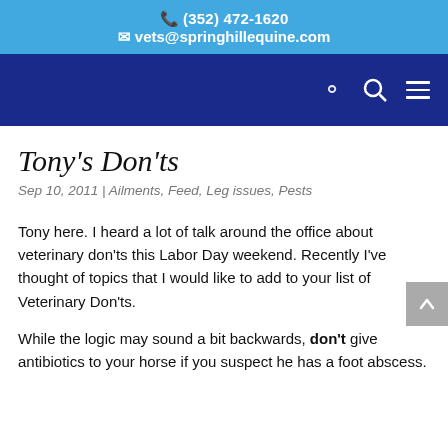(352) 472-1620 | vets@springhillequine.com
Tony's Don'ts
Sep 10, 2011 | Ailments, Feed, Leg issues, Pests
Tony here. I heard a lot of talk around the office about veterinary don'ts this Labor Day weekend. Recently I've thought of topics that I would like to add to your list of Veterinary Don'ts.
While the logic may sound a bit backwards, don't give antibiotics to your horse if you suspect he has a foot abscess.